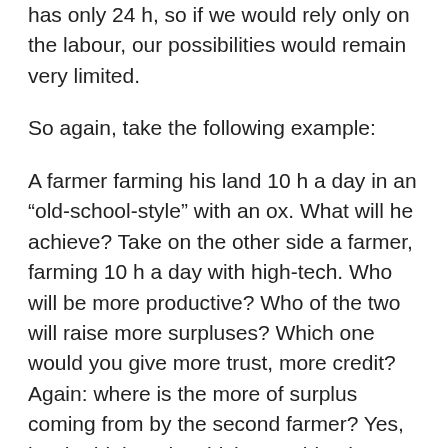has only 24 h, so if we would rely only on the labour, our possibilities would remain very limited.
So again, take the following example:
A farmer farming his land 10 h a day in an “old-school-style” with an ox. What will he achieve? Take on the other side a farmer, farming 10 h a day with high-tech. Who will be more productive? Who of the two will raise more surpluses? Which one would you give more trust, more credit? Again: where is the more of surplus coming from by the second farmer? Yes, it's the high-tech, which gave him the possibility to be much more productive in the same time. The “high-tech” is a product of innovation and